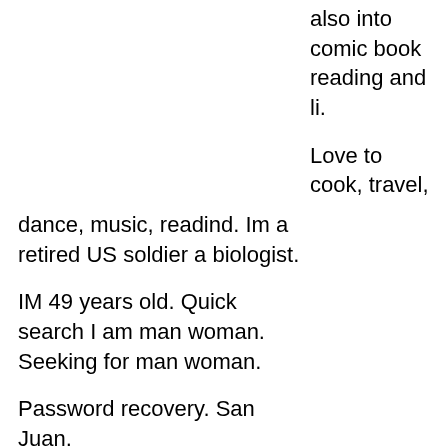also into comic book reading and li.
Love to cook, travel,
dance, music, readind. Im a retired US soldier a biologist.
IM 49 years old. Quick search I am man woman. Seeking for man woman.
Password recovery. San Juan.
Toa Baja. Cabo Rojo.